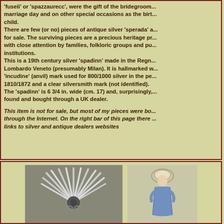'fuseii' or 'spazzaurecc', were the gift of the bridegroom... marriage day and on other special occasions as the birt... child. There are few (or no) pieces of antique silver 'sperada' a... for sale. The surviving pieces are a precious heritage pr... with close attention by families, folkloric groups and pu... institutions. This is a 19th century silver 'spadinn' made in the Regn... Lombardo Veneto (presumably Milan). It is hallmarked w... 'incudine' (anvil) mark used for 800/1000 silver in the pe... 1810/1872 and a clear silversmith mark (not identified). The 'spadinn' is 6 3/4 in. wide (cm. 17) and, surprisingly,... found and bought through a UK dealer.
This item is not for sale, but most of my pieces were bo... through the Internet. On the right bar of this page there ... links to silver and antique dealers websites
[Figure (photo): Black and white photograph of an ornate silver 'spadinn' brooch showing a radial fan/sunburst design with pointed spines]
[Figure (illustration): Colored illustration of a woman in traditional dress wearing a headdress]